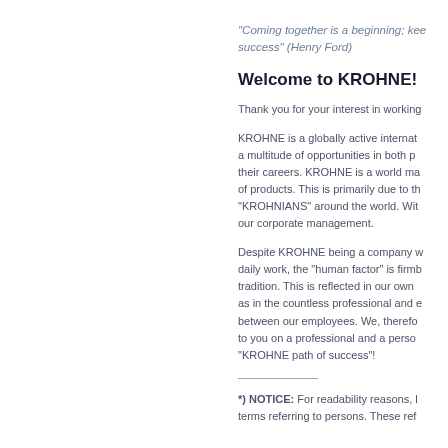"Coming together is a beginning; keeping together is progress; working together is success" (Henry Ford)
Welcome to KROHNE!
Thank you for your interest in working...
KROHNE is a globally active internationally operating company that offers a multitude of opportunities in both professional and personal advancement in their careers. KROHNE is a world market leader in an impressive number of products. This is primarily due to the hard work and dedication of the "KROHNIANS" around the world. With their support we continuously develop our corporate management.
Despite KROHNE being a company where technology plays a key role in our daily work, the "human factor" is firmly embedded in our own company tradition. This is reflected in our own internal culture of working together, as in the countless professional and close personal relationships that exist between our employees. We, therefore, look forward to personally welcoming to you on a professional and a personal level and accompanying you on the "KROHNE path of success"!
*) NOTICE: For readability reasons, masculine terms are used for terms referring to persons. These refer...